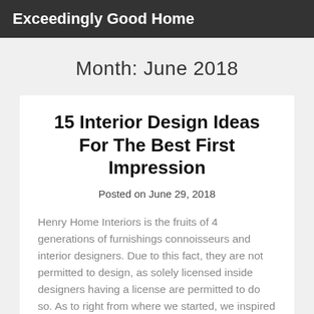Exceedingly Good Home
Month: June 2018
15 Interior Design Ideas For The Best First Impression
Posted on June 29, 2018
Henry Home Interiors is the fruits of 4 generations of furnishings connoisseurs and interior designers. Due to this fact, they are not permitted to design, as solely licensed inside designers having a license are permitted to do so. As to right from where we started, we inspired this i…